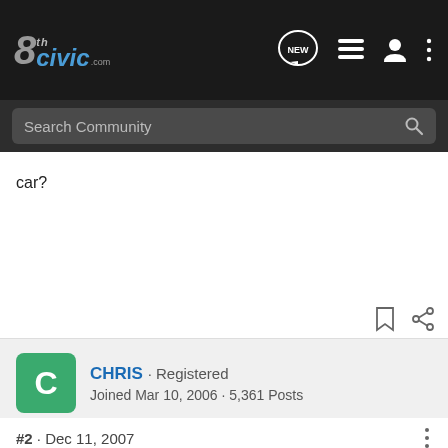8thCivic.com - Search Community
car?
CHRIS · Registered
Joined Mar 10, 2006 · 5,361 Posts
#2 · Dec 11, 2007
sinafl said: ↑
What does everyone think.. HFP Kit or Raven kit for my new car?